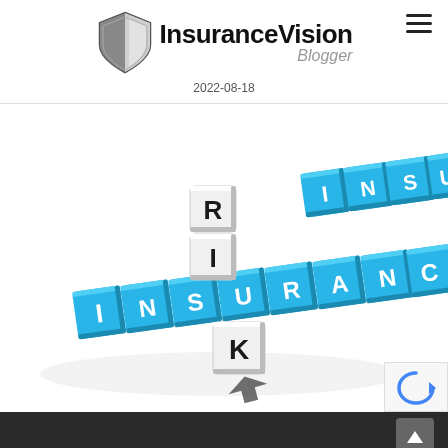InsuranceVision Blogger
2022-08-18
[Figure (photo): 3D scrabble-style letter cubes arranged in a crossword pattern spelling INSURANCE (blue cubes horizontal) and RISK (white cubes vertical), on a white background.]